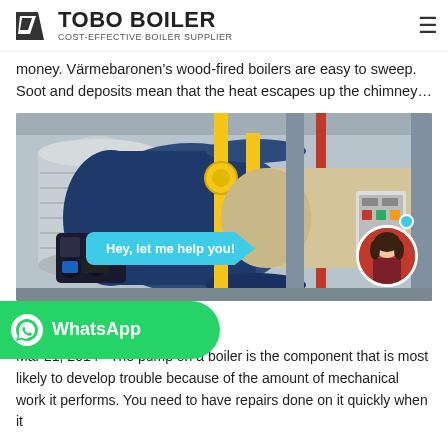TOBO BOILER — COST-EFFECTIVE BOILER SUPPLIER
money. Värmebaronen's wood-fired boilers are easy to sweep. Soot and deposits mean that the heat escapes up the chimney…
[Figure (photo): Industrial boiler system with blue cylindrical boiler, yellow gas pipes, and control panel in a factory setting. Overlay: cyan chat bubble saying 'Hey, let me help you!' with female avatar and online indicator dot.]
[Figure (logo): WhatsApp green button with WhatsApp icon and text 'WhatsApp']
n Netmums
Mar 21, 2014 · The pump on a boiler is the component that is most likely to develop trouble because of the amount of mechanical work it performs. You need to have repairs done on it quickly when it